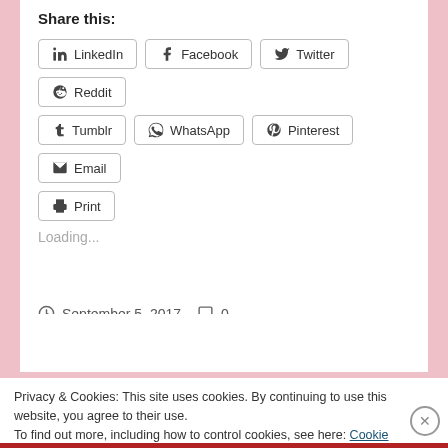Share this:
LinkedIn  Facebook  Twitter  Reddit  Tumblr  WhatsApp  Pinterest  Email  Print
Loading...
September 5, 2017   0
Privacy & Cookies: This site uses cookies. By continuing to use this website, you agree to their use.
To find out more, including how to control cookies, see here: Cookie Policy
Close and accept